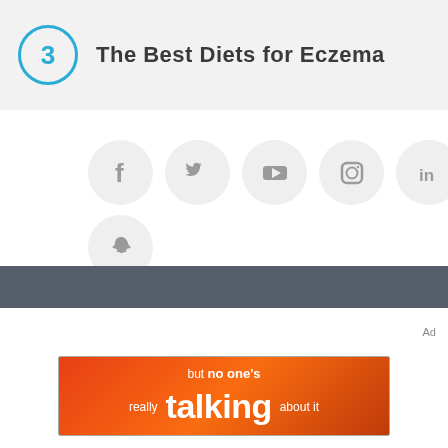The Best Diets for Eczema
[Figure (infographic): Social media icons in gray circles: Facebook, Twitter, YouTube, Instagram, LinkedIn, Pinterest on first row; Snapchat on second row]
[Figure (infographic): Dark gray horizontal bar (footer/divider bar)]
Ad
[Figure (infographic): Orange-red advertisement banner with text: but no one's really talking about it]